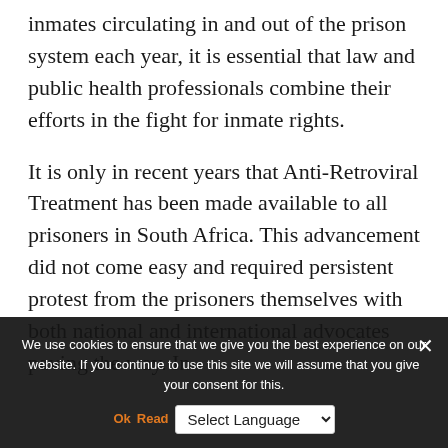inmates circulating in and out of the prison system each year, it is essential that law and public health professionals combine their efforts in the fight for inmate rights.
It is only in recent years that Anti-Retroviral Treatment has been made available to all prisoners in South Africa. This advancement did not come easy and required persistent protest from the prisoners themselves with both national and international advocates paving the way. In
We use cookies to ensure that we give you the best experience on our website. If you continue to use this site we will assume that you give your consent for this.